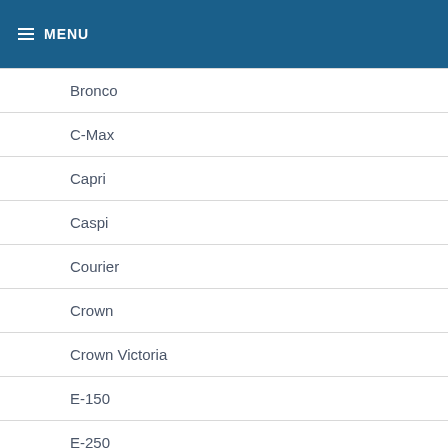MENU
Bronco
C-Max
Capri
Caspi
Courier
Crown
Crown Victoria
E-150
E-250
E-350
E-Series